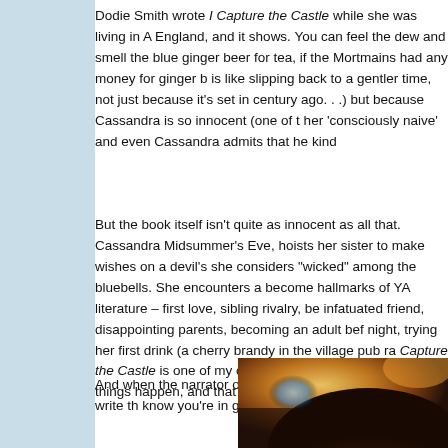Dodie Smith wrote I Capture the Castle while she was living in America, nostalgic for England, and it shows. You can feel the dew and smell the bluebells, almost taste the ginger beer for tea, if the Mortmains had any money for ginger beer. Reading this book is like slipping back to a gentler time, not just because it's set in England (half a century ago. . .) but because Cassandra is so innocent (one of the critics called her 'consciously naive' and even Cassandra admits that he kind of had a point).
But the book itself isn't quite as innocent as all that. Cassandra dances naked on Midsummer's Eve, hoists her sister to make wishes on a devil's stone, and does things she considers "wicked" among the bluebells. She encounters a lot of themes that become hallmarks of YA literature – first love, sibling rivalry, being betrayed by an infatuated friend, disappointing parents, becoming an adult before you're ready, one night, trying her first drink (a cherry brandy in the village pub rather than vodka). I Capture the Castle is one of my comfort reads but it doesn't shy away from letting bad things happen, and that all we can do as humans, sometimes, is write it all down.
And when the narrator opens their memoirs by saying "I write th... you just know you're in good hands.
[Figure (photo): Partial photo of a person's head/hair from behind, with warm stage lighting in orange/gold tones and blue accent lighting visible in the background.]